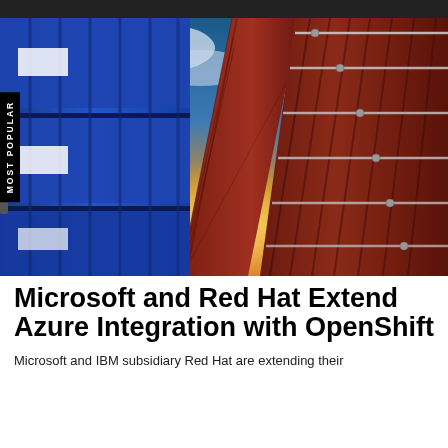[Figure (photo): Looking up between two tall stacks of shipping containers — blue containers on the left, dark red/maroon containers on the right — against a dramatic cloudy sky with a bright sunburst at the horizon center.]
Microsoft and Red Hat Extend Azure Integration with OpenShift
Microsoft and IBM subsidiary Red Hat are extending their